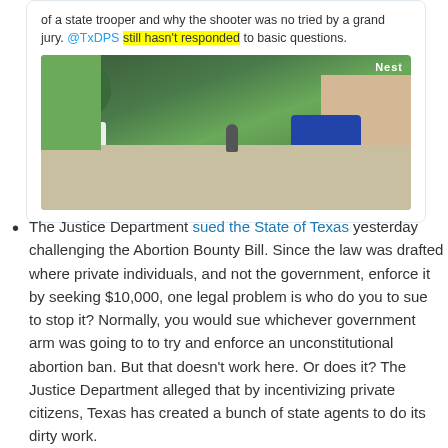[Figure (screenshot): A tweet screenshot showing text about @TxDPS with 'still hasn't responded' highlighted in yellow, and an embedded security camera image (Nest) showing a bird's-eye view of a suburban scene with police cars, a person, trees, and a house.]
The Justice Department sued the State of Texas yesterday challenging the Abortion Bounty Bill. Since the law was drafted where private individuals, and not the government, enforce it by seeking $10,000, one legal problem is who do you to sue to stop it? Normally, you would sue whichever government arm was going to to try and enforce an unconstitutional abortion ban. But that doesn't work here. Or does it? The Justice Department alleged that by incentivizing private citizens, Texas has created a bunch of state agents to do its dirty work.